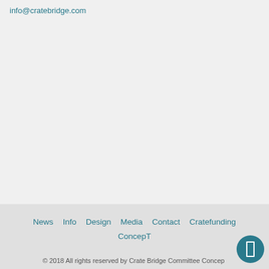info@cratebridge.com
News  Info  Design  Media  Contact  Cratefunding  ConcepT
© 2018 All rights reserved by Crate Bridge Committee Concept